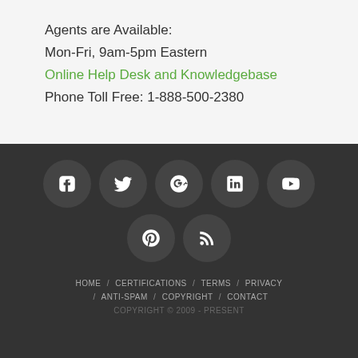Agents are Available:
Mon-Fri, 9am-5pm Eastern
Online Help Desk and Knowledgebase
Phone Toll Free: 1-888-500-2380
[Figure (infographic): Row of social media icon circles: Facebook, Twitter, Google+, LinkedIn, YouTube, Pinterest, RSS]
HOME / CERTIFICATIONS / TERMS / PRIVACY / ANTI-SPAM / COPYRIGHT / CONTACT
COPYRIGHT © 2009 - PRESENT